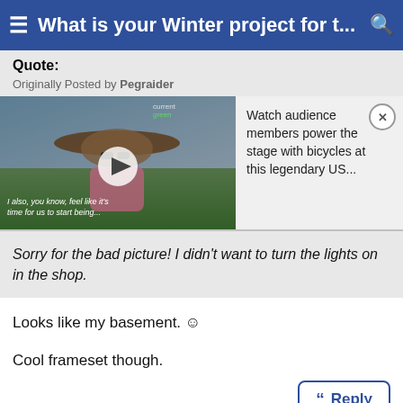What is your Winter project for t...
Quote:
Originally Posted by Pegraider
[Figure (screenshot): Video thumbnail showing a woman in a sun hat at an outdoor event, with a play button overlay and caption text. Sidebar shows text: Watch audience members power the stage with bicycles at this legendary US...]
Sorry for the bad picture! I didn't want to turn the lights on in the shop.
Looks like my basement. 🙂
Cool frameset though.
Reply